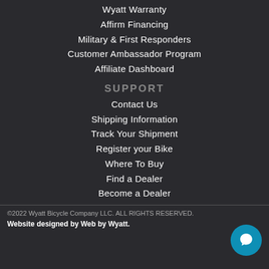Wyatt Warranty
Affirm Financing
Military & First Responders
Customer Ambassador Program
Affiliate Dashboard
SUPPORT
Contact Us
Shipping Information
Track Your Shipment
Register your Bike
Where To Buy
Find a Dealer
Become a Dealer
©2022 Wyatt Bicycle Company LLC. ALL RIGHTS RESERVED. Website designed by Web by Wyatt.